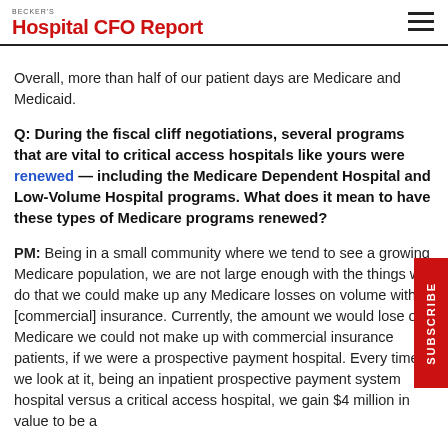BECKER'S Hospital CFO Report
Overall, more than half of our patient days are Medicare and Medicaid.
Q: During the fiscal cliff negotiations, several programs that are vital to critical access hospitals like yours were renewed — including the Medicare Dependent Hospital and Low-Volume Hospital programs. What does it mean to have these types of Medicare programs renewed?
PM: Being in a small community where we tend to see a growing Medicare population, we are not large enough with the things we do that we could make up any Medicare losses on volume with [commercial] insurance. Currently, the amount we would lose on Medicare we could not make up with commercial insurance patients, if we were a prospective payment hospital. Every time we look at it, being an inpatient prospective payment system hospital versus a critical access hospital, we gain $4 million in value to be a